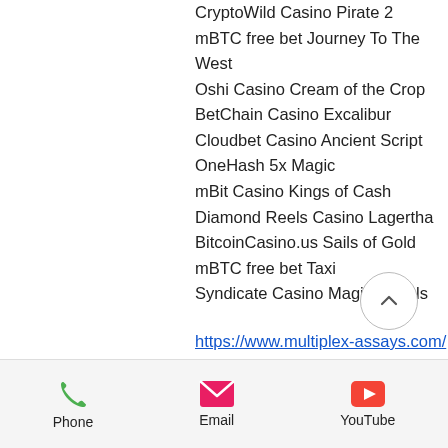CryptoWild Casino Pirate 2
mBTC free bet Journey To The West
Oshi Casino Cream of the Crop
BetChain Casino Excalibur
Cloudbet Casino Ancient Script
OneHash 5x Magic
mBit Casino Kings of Cash
Diamond Reels Casino Lagertha
BitcoinCasino.us Sails of Gold
mBTC free bet Taxi
Syndicate Casino Magic Portals
https://www.multiplex-assays.com/profile/jameyroche19340246/profile
https://www.undoubting.org/profile/mariationda13363685/profile
https://www.megillandcompany.org/profile/linwoodhamed15967312/profile
Phone  Email  YouTube